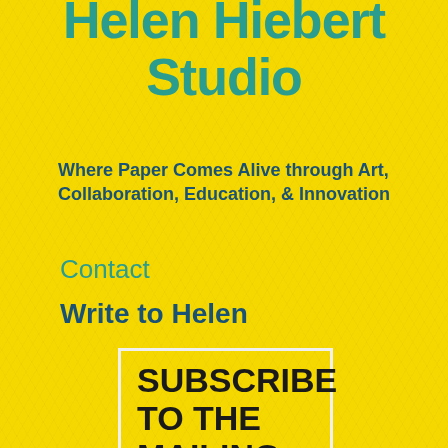Helen Hiebert Studio
Where Paper Comes Alive through Art, Collaboration, Education, & Innovation
Contact
Write to Helen
SUBSCRIBE TO THE MAILING LIST